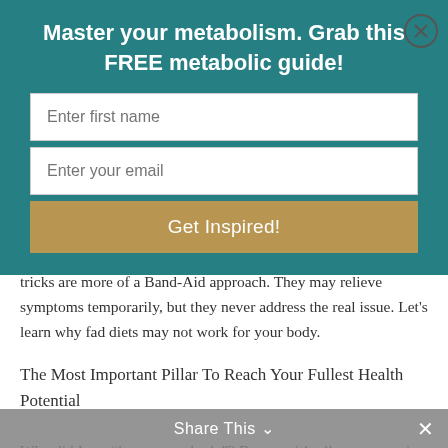Master your metabolism. Grab this FREE metabolic guide!
[Figure (other): Email signup form with two input fields (Enter first name, Enter your email) and a gold 'Get Inspired!' button on a teal background, with a close (X) button in the top right corner]
tricks are more of a Band-Aid approach. They may relieve symptoms temporarily, but they never address the real issue. Let's learn why fad diets may not work for your body.
The Most Important Pillar To Reach Your Fullest Health Potential
Why did I say “honor your body”? Because it’s all-encompassing of my 3 stage framework to help busy
Share This ⌄